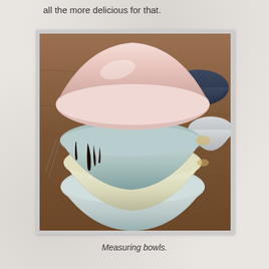all the more delicious for that.
[Figure (photo): Stack of four ceramic mixing bowls on a wooden surface. The top bowl is pink/mauve, below it a pale blue-grey bowl with dark chocolate sauce dripping down the side, then a cream/yellow bowl, and at the bottom a light blue-grey bowl. In the background are more bowls partially visible.]
Measuring bowls.